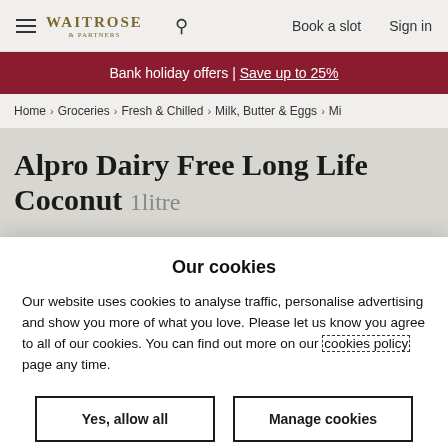WAITROSE & PARTNERS | Book a slot | Sign in
Bank holiday offers | Save up to 25%
Home > Groceries > Fresh & Chilled > Milk, Butter & Eggs > Mi
Alpro Dairy Free Long Life Coconut 1litre
Our cookies
Our website uses cookies to analyse traffic, personalise advertising and show you more of what you love. Please let us know you agree to all of our cookies. You can find out more on our cookies policy page any time.
Yes, allow all | Manage cookies